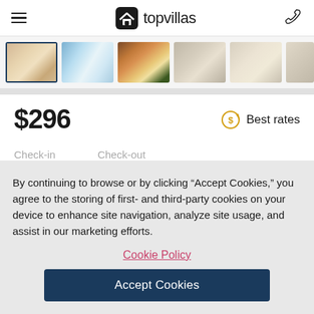topvillas
[Figure (photo): Gallery of 6 vacation rental property thumbnail images in a horizontal strip. First image is selected/highlighted with a dark blue border.]
$296
Best rates
Check-in   Check-out
By continuing to browse or by clicking “Accept Cookies,” you agree to the storing of first- and third-party cookies on your device to enhance site navigation, analyze site usage, and assist in our marketing efforts.
Cookie Policy
Accept Cookies